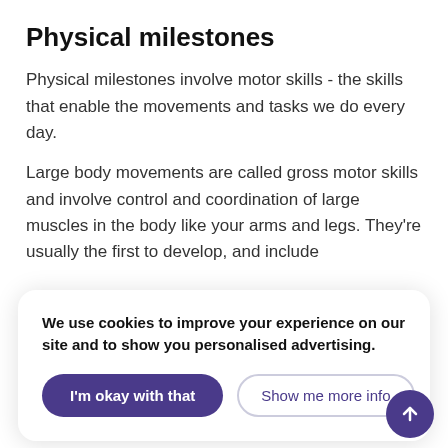Physical milestones
Physical milestones involve motor skills - the skills that enable the movements and tasks we do every day.
Large body movements are called gross motor skills and involve control and coordination of large muscles in the body like your arms and legs. They're usually the first to develop, and include
We use cookies to improve your experience on our site and to show you personalised advertising.
fork, or holding a pen.